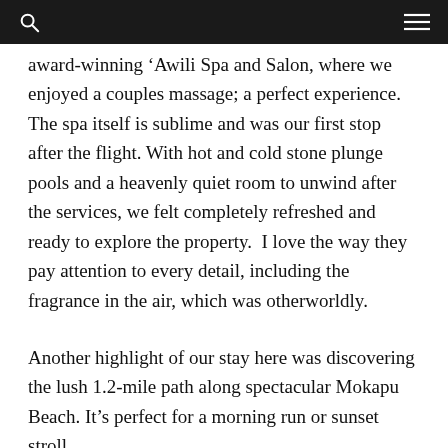award-winning 'Awili Spa and Salon, where we enjoyed a couples massage; a perfect experience. The spa itself is sublime and was our first stop after the flight. With hot and cold stone plunge pools and a heavenly quiet room to unwind after the services, we felt completely refreshed and ready to explore the property.  I love the way they pay attention to every detail, including the fragrance in the air, which was otherworldly.
Another highlight of our stay here was discovering the lush 1.2-mile path along spectacular Mokapu Beach. It's perfect for a morning run or sunset stroll.
A beautiful architectural property and wonderful